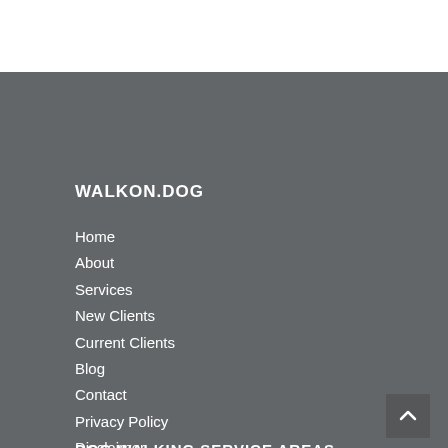WALKON.DOG
Home
About
Services
New Clients
Current Clients
Blog
Contact
Privacy Policy
Disclaimer
Sitemap
DOG WALKING SERVICE AREAS
6233 Summer Pond Dr.